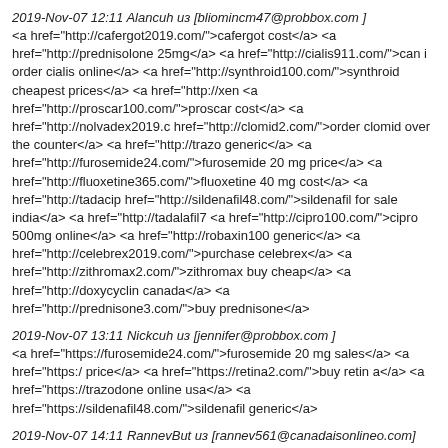2019-Nov-07 12:11 Alancuh из [bliomincm47@probbox.com ]
<a href="http://cafergot2019.com/">cafergot cost</a> <a href="http://prednisolone 25mg</a> <a href="http://cialis911.com/">can i order cialis online</a> <a href="http://synthroid100.com/">synthroid cheapest prices</a> <a href="http://xen <a href="http://proscar100.com/">proscar cost</a> <a href="http://nolvadex2019.c href="http://clomid2.com/">order clomid over the counter</a> <a href="http://trazo generic</a> <a href="http://furosemide24.com/">furosemide 20 mg price</a> <a href="http://fluoxetine365.com/">fluoxetine 40 mg cost</a> <a href="http://tadacip href="http://sildenafil48.com/">sildenafil for sale india</a> <a href="http://tadalafil7 <a href="http://cipro100.com/">cipro 500mg online</a> <a href="http://robaxin100 generic</a> <a href="http://celebrex2019.com/">purchase celebrex</a> <a href="http://zithromax2.com/">zithromax buy cheap</a> <a href="http://doxycyclin canada</a> <a href="http://prednisone3.com/">buy prednisone</a>
2019-Nov-07 13:11 Nickcuh из [jennifer@probbox.com ]
<a href="https://furosemide24.com/">furosemide 20 mg sales</a> <a href="https:/ price</a> <a href="https://retina2.com/">buy retin a</a> <a href="https://trazodone online usa</a> <a href="https://sildenafil48.com/">sildenafil generic</a>
2019-Nov-07 14:11 RannevBut из [rannev561@canadaisonlineo.com]
at is sale usa
2019-Nov-07 15:11 Kimcuh из [gpalmer@probbox.com ]
<a href="https://wellbutrin365.com/">order wellbutrin sr</a>
2019-Nov-07 15:11 Evacuh из [elxiewhite@probbox.com ]
<a href="https://prednisolone100.com/">prednisolone 25mg australia</a>